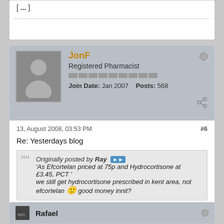[ ... ]
JonF
Registered Pharmacist
Join Date: Jan 2007   Posts: 568
13, August 2008, 03:53 PM
#6
Re: Yesterdays blog
Originally posted by Ray
'As Efcortelan priced at 75p and Hydrocortisone at £3.45, PCT '
we still get hydrocortisone prescribed in kent area, not efcortelan good money innit?
Just found out today the whole of the Efcortelan range has been discontinued!!
Rafael